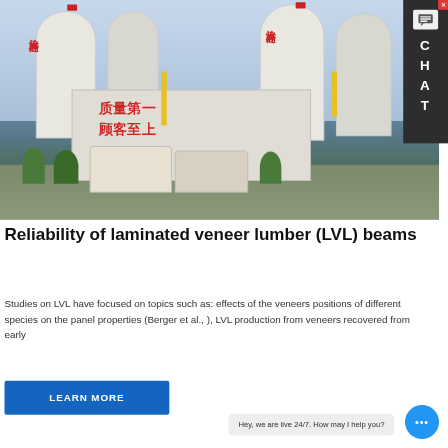[Figure (photo): Industrial concrete batching plant facility with large white silos labeled with Chinese characters (沧兴商砼), concrete mixer trucks in foreground, trees and vehicles visible.]
Reliability of laminated veneer lumber (LVL) beams
Studies on LVL have focused on topics such as: effects of the veneers positions of different species on the panel properties (Berger et al., ), LVL production from veneers recovered from early
LEARN MORE
Hey, we are live 24/7. How may I help you?